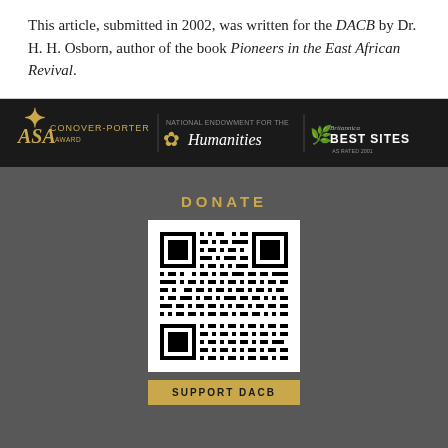This article, submitted in 2002, was written for the DACB by Dr. H. H. Osborn, author of the book Pioneers in the East African Revival.
[Figure (logo): Awards bar showing ASA Conover-Porter Award, National Endowment for the Humanities logo, Britannica Best Sites logo on dark background]
DONATE
[Figure (other): QR code for donation in white box]
SUPPORT DACB